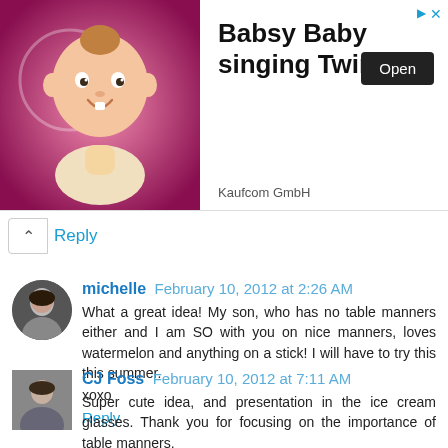[Figure (screenshot): Advertisement banner for 'Babsy Baby singing Twinkle' by Kaufcom GmbH with an Open button and cartoon baby image on pink background]
Reply
michelle February 10, 2012 at 2:26 AM
What a great idea! My son, who has no table manners either and I am SO with you on nice manners, loves watermelon and anything on a stick! I will have to try this this summer.
xoxo
Reply
CJ Foss February 10, 2012 at 7:11 AM
Super cute idea, and presentation in the ice cream glasses. Thank you for focusing on the importance of table manners.